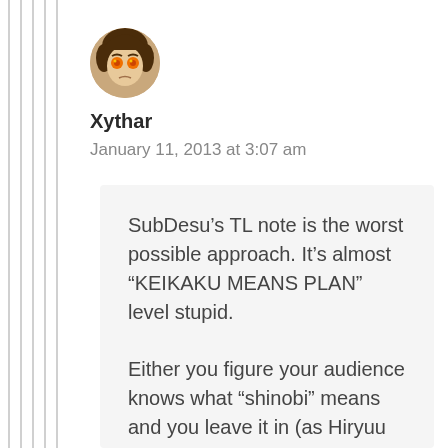[Figure (illustration): Circular avatar of anime-style character with orange/red eyes and dark hair]
Xythar
January 11, 2013 at 3:07 am
SubDesu’s TL note is the worst possible approach. It’s almost “KEIKAKU MEANS PLAN” level stupid.

Either you figure your audience knows what “shinobi” means and you leave it in (as Hiryuu did)